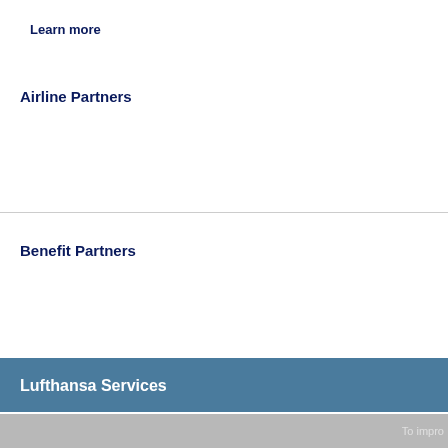Learn more
Airline Partners
Benefit Partners
Lufthansa Services
To impro